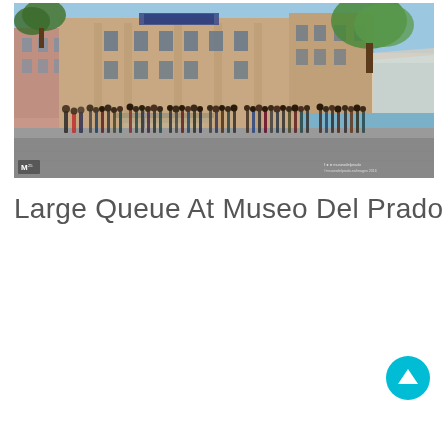[Figure (photo): A large queue of visitors waiting outside the Museo del Prado museum building in Madrid. The neoclassical building facade is visible in the background with green trees. Many people are lined up along the exterior. The photo has a Museo del Prado logo watermark in the bottom left corner.]
Large Queue At Museo Del Prado